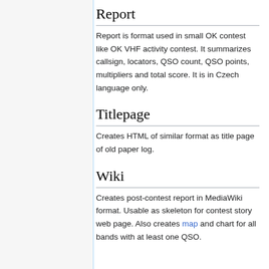Report
Report is format used in small OK contest like OK VHF activity contest. It summarizes callsign, locators, QSO count, QSO points, multipliers and total score. It is in Czech language only.
Titlepage
Creates HTML of similar format as title page of old paper log.
Wiki
Creates post-contest report in MediaWiki format. Usable as skeleton for contest story web page. Also creates map and chart for all bands with at least one QSO.